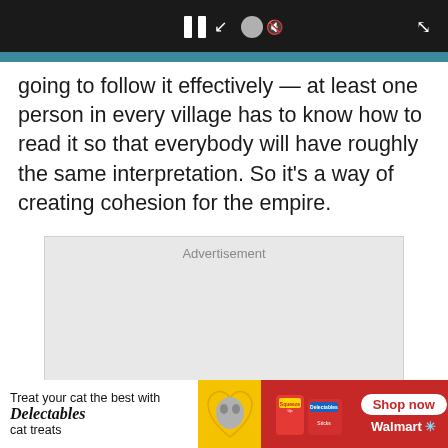[Figure (screenshot): Video player top bar with pause button, volume/speaker icon on dark background, and expand icon in top-right corner]
going to follow it effectively — at least one person in every village has to know how to read it so that everybody will have roughly the same interpretation. So it's a way of creating cohesion for the empire.
[Figure (other): Advertisement placeholder box with 'Advertisement' label, light gray background]
[Figure (other): Walmart/Delectables banner ad: 'Treat your cat the best with Delectables cat treats' with cat photo in heart shape, Squeeze Up and Sticks product images, Shop now button, and Walmart logo]